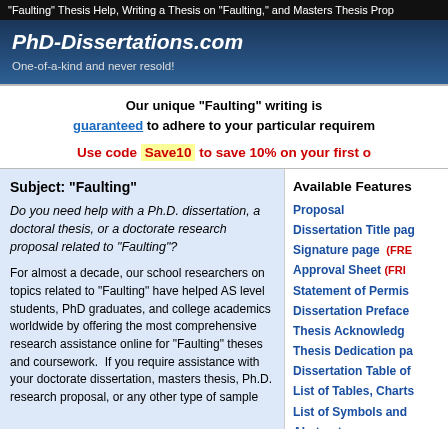"Faulting" Thesis Help, Writing a Thesis on "Faulting," and Masters Thesis Prop
PhD-Dissertations.com
One-of-a-kind and never resold!
Our unique "Faulting" writing is guaranteed to adhere to your particular requirements
Use code Save10 to save 10% on your first o
Subject:  "Faulting"
Do you need help with a Ph.D. dissertation, a doctoral thesis, or a doctorate research proposal related to "Faulting"?
For almost a decade, our school researchers on topics related to "Faulting" have helped AS level students, PhD graduates, and college academics worldwide by offering the most comprehensive research assistance online for "Faulting" theses and coursework.  If you require assistance with your doctorate dissertation, masters thesis, Ph.D. research proposal, or any other type of sample
Available Features
Proposal
Dissertation Title page
Signature page  (FREE)
Approval Sheet  (FREE)
Statement of Permission
Dissertation Preface
Thesis Acknowledgements
Thesis Dedication page
Dissertation Table of
List of Tables, Charts
List of Symbols and
Abstract
Thesis Synopsis